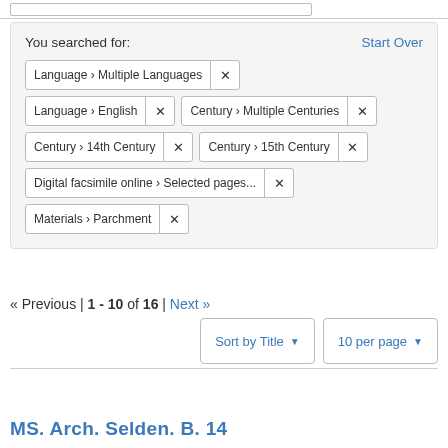You searched for:
Start Over
Language > Multiple Languages ×
Language > English ×
Century > Multiple Centuries ×
Century > 14th Century ×
Century > 15th Century ×
Digital facsimile online > Selected pages... ×
Materials > Parchment ×
« Previous | 1 - 10 of 16 | Next »
Sort by Title ▼
10 per page ▼
MS. Arch. Selden. B. 14